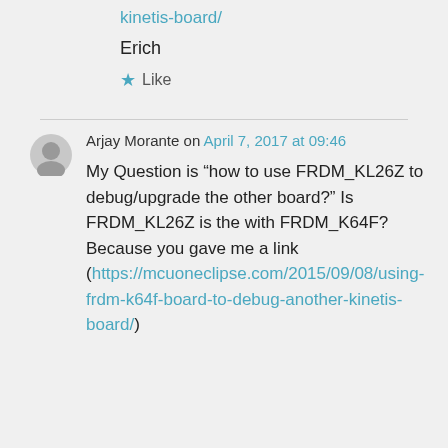kinetis-board/
Erich
★ Like
Arjay Morante on April 7, 2017 at 09:46
My Question is “how to use FRDM_KL26Z to debug/upgrade the other board?” Is FRDM_KL26Z is the with FRDM_K64F? Because you gave me a link (https://mcuoneclipse.com/2015/09/08/using-frdm-k64f-board-to-debug-another-kinetis-board/)